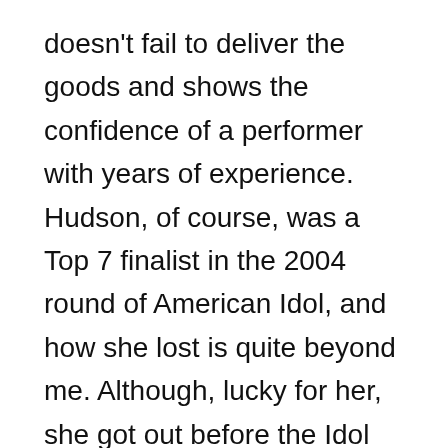doesn't fail to deliver the goods and shows the confidence of a performer with years of experience. Hudson, of course, was a Top 7 finalist in the 2004 round of American Idol, and how she lost is quite beyond me. Although, lucky for her, she got out before the Idol curse was able to dig its claws in her.

The other surprise in the movie is Eddie Murphy's decidedly un-Eddie Murphy-like turn as the has-been Early, who descends into a pit of depression as his artistic vision is